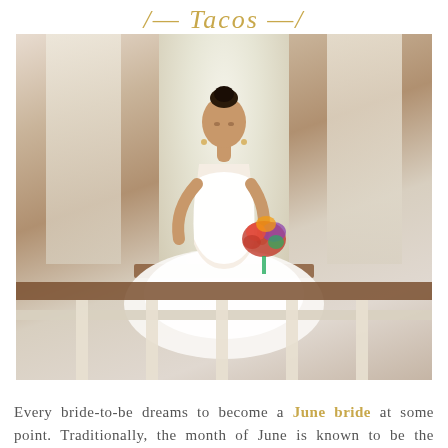Tacos
[Figure (photo): A bride in a white strapless wedding gown sits on a bench near a large window, holding a colorful bouquet of flowers. The setting appears to be an elegant interior with white columns and ornate windows. White iron railings are visible in the foreground.]
Every bride-to-be dreams to become a June bride at some point. Traditionally, the month of June is known to be the ideal season to tie the knot because it is a season that permits good weather